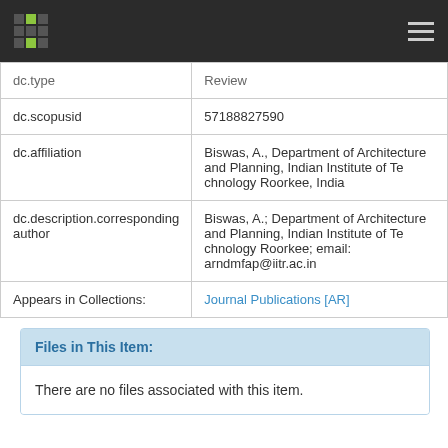| Field | Value |
| --- | --- |
| dc.type | Review |
| dc.scopusid | 57188827590 |
| dc.affiliation | Biswas, A., Department of Architecture and Planning, Indian Institute of Technology Roorkee, India |
| dc.description.correspondingauthor | Biswas, A.; Department of Architecture and Planning, Indian Institute of Technology Roorkee; email: arndmfap@iitr.ac.in |
| Appears in Collections: | Journal Publications [AR] |
Files in This Item:
There are no files associated with this item.